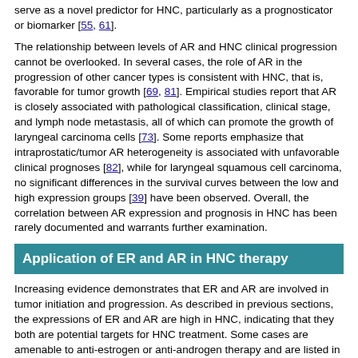serve as a novel predictor for HNC, particularly as a prognosticator or biomarker [55, 61].
The relationship between levels of AR and HNC clinical progression cannot be overlooked. In several cases, the role of AR in the progression of other cancer types is consistent with HNC, that is, favorable for tumor growth [69, 81]. Empirical studies report that AR is closely associated with pathological classification, clinical stage, and lymph node metastasis, all of which can promote the growth of laryngeal carcinoma cells [73]. Some reports emphasize that intraprostatic/tumor AR heterogeneity is associated with unfavorable clinical prognoses [82], while for laryngeal squamous cell carcinoma, no significant differences in the survival curves between the low and high expression groups [39] have been observed. Overall, the correlation between AR expression and prognosis in HNC has been rarely documented and warrants further examination.
Application of ER and AR in HNC therapy
Increasing evidence demonstrates that ER and AR are involved in tumor initiation and progression. As described in previous sections, the expressions of ER and AR are high in HNC, indicating that they both are potential targets for HNC treatment. Some cases are amenable to anti-estrogen or anti-androgen therapy and are listed in Table 3 and Table 4, respectively.
Table 3
Application of anti-estrogen therapy in HNC
| Receptor | ER | HNC | Treatment | Response | Outcome | Ref |
| --- | --- | --- | --- | --- | --- | --- |